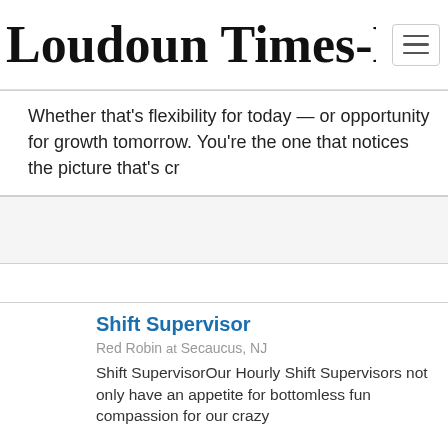Loudoun Times-Mirror
Whether that's flexibility for today — or opportunity for growth tomorrow. You're the one that notices the picture that's cr
[Figure (other): Blank/advertisement placeholder card]
[Figure (logo): Red Robin 50th anniversary logo]
Shift Supervisor
Red Robin at Secaucus, NJ
Shift SupervisorOur Hourly Shift Supervisors not only have an appetite for bottomless fun compassion for our crazy